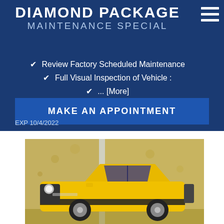DIAMOND PACKAGE
MAINTENANCE SPECIAL
✔ Review Factory Scheduled Maintenance
✔ Full Visual Inspection of Vehicle :
✔ ... [More]
MAKE AN APPOINTMENT
EXP 10/4/2022
[Figure (photo): Yellow Dodge Challenger muscle car photographed in front of a concrete wall]